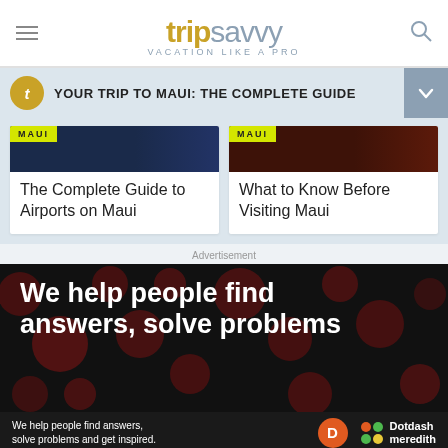tripsavvy VACATION LIKE A PRO
YOUR TRIP TO MAUI: THE COMPLETE GUIDE
The Complete Guide to Airports on Maui
What to Know Before Visiting Maui
Advertisement
[Figure (screenshot): Advertisement image with dark background and red polka dots showing text 'We help people find answers, solve problems' in white bold font]
We help people find answers, solve problems and get inspired.